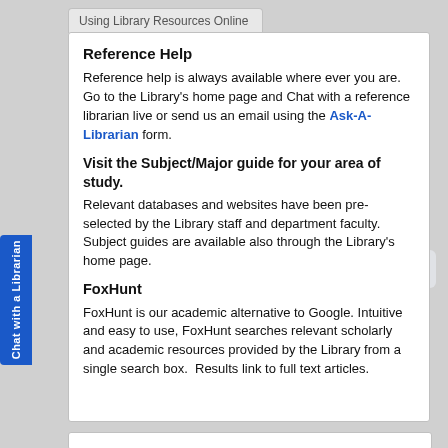Using Library Resources Online
Reference Help
Reference help is always available where ever you are. Go to the Library's home page and Chat with a reference librarian live or send us an email using the Ask-A-Librarian form.
Visit the Subject/Major guide for your area of study.
Relevant databases and websites have been pre-selected by the Library staff and department faculty. Subject guides are available also through the Library's home page.
FoxHunt
FoxHunt is our academic alternative to Google. Intuitive and easy to use, FoxHunt searches relevant scholarly and academic resources provided by the Library from a single search box. Results link to full text articles.